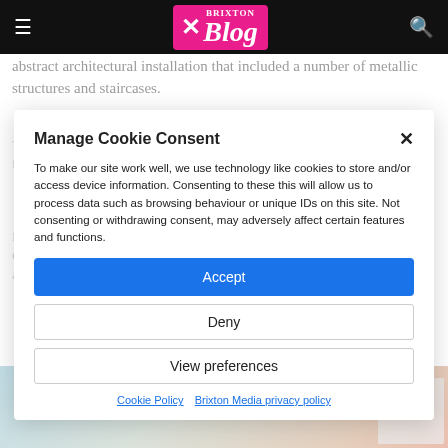Brixton Blog
abstract architectural installation that included a number of metallic structures and staircases.
These allowed for different heights and viewpoints, depending on how stuck in you wanted to get – the perfect solution for the s
HUNEE welcomed us with a gloriously chilled set, dropping an almost Caribbean-sounding remix of the Rocky theme tune which went down an absolute treat.
[Figure (photo): Photo strip of architectural structure with blue sky background]
Manage Cookie Consent
To make our site work well, we use technology like cookies to store and/or access device information. Consenting to these this will allow us to process data such as browsing behaviour or unique IDs on this site. Not consenting or withdrawing consent, may adversely affect certain features and functions.
Accept
Deny
View preferences
Cookie Policy   Brixton Media privacy policy